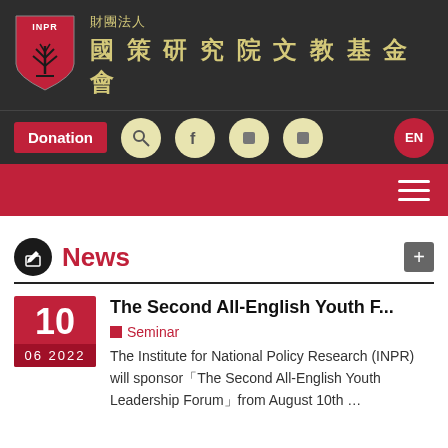[Figure (logo): INPR shield logo with red background and black tree symbol]
財團法人 國策研究院文教基金會
Donation
News
The Second All-English Youth F...
Seminar
The Institute for National Policy Research (INPR) will sponsor「The Second All-English Youth Leadership Forum」from August 10th …